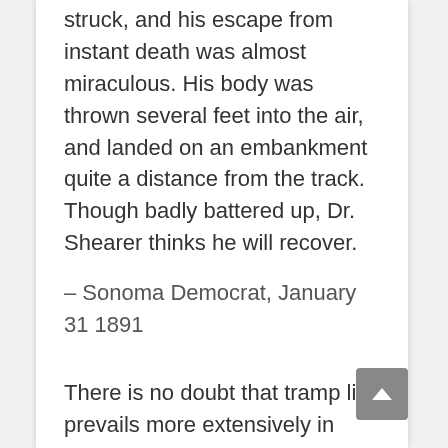struck, and his escape from instant death was almost miraculous. His body was thrown several feet into the air, and landed on an embankment quite a distance from the track. Though badly battered up, Dr. Shearer thinks he will recover.
– Sonoma Democrat, January 31 1891
There is no doubt that tramp life prevails more extensively in California than in any other State in the union, but the reasons are not confined exclusively to the glorious climate as